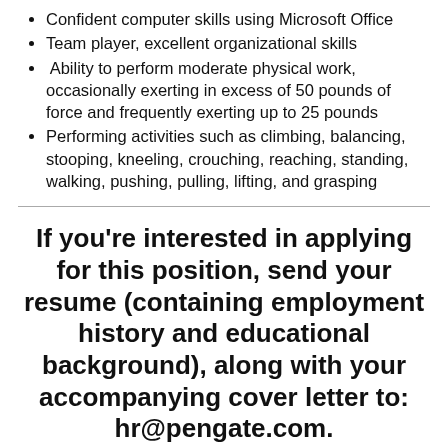Confident computer skills using Microsoft Office
Team player, excellent organizational skills
Ability to perform moderate physical work, occasionally exerting in excess of 50 pounds of force and frequently exerting up to 25 pounds
Performing activities such as climbing, balancing, stooping, kneeling, crouching, reaching, standing, walking, pushing, pulling, lifting, and grasping
If you're interested in applying for this position, send your resume (containing employment history and educational background), along with your accompanying cover letter to: hr@pengate.com.